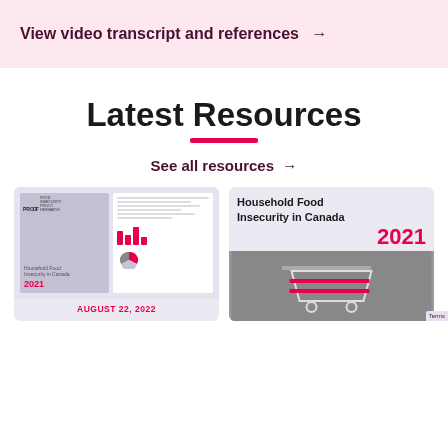View video transcript and references →
Latest Resources
See all resources →
[Figure (photo): PROOF Food Insecurity Policy Research report cover and open spread showing charts and text]
AUGUST 22, 2022
[Figure (photo): Household Food Insecurity in Canada 2021 report cover with shopping cart image]
Terms